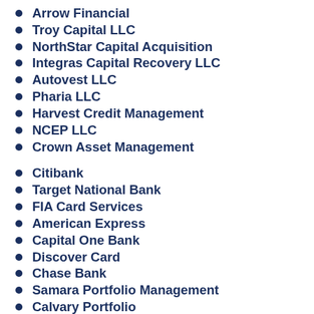Arrow Financial
Troy Capital LLC
NorthStar Capital Acquisition
Integras Capital Recovery LLC
Autovest LLC
Pharia LLC
Harvest Credit Management
NCEP LLC
Crown Asset Management
Citibank
Target National Bank
FIA Card Services
American Express
Capital One Bank
Discover Card
Chase Bank
Samara Portfolio Management
Calvary Portfolio
Calvary SPV LLC